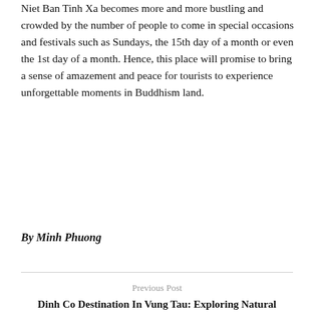Niet Ban Tinh Xa becomes more and more bustling and crowded by the number of people to come in special occasions and festivals such as Sundays, the 15th day of a month or even the 1st day of a month. Hence, this place will promise to bring a sense of amazement and peace for tourists to experience unforgettable moments in Buddhism land.
By Minh Phuong
Previous Post
Dinh Co Destination In Vung Tau: Exploring Natural Landscapes & Experiencing Festivals
Next Post
Admire Poetic & Magic Beauty Of Vong Nguyet Beach In Vung Tau